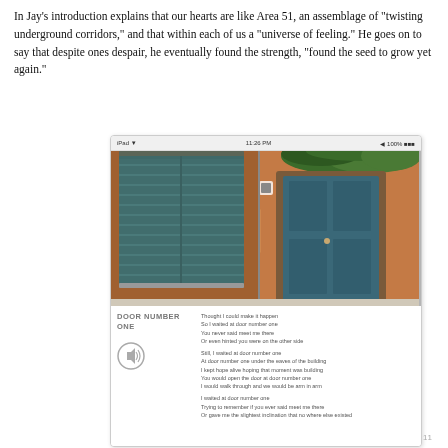In Jay's introduction explains that our hearts are like Area 51, an assemblage of "twisting underground corridors," and that within each of us a "universe of feeling." He goes on to say that despite ones despair, he eventually found the strength, "found the seed to grow yet again."
[Figure (screenshot): Screenshot of a mobile app showing a photo of a building facade with blue shuttered window on the left and a blue wooden door with ivy on the right, on an orange/terracotta wall. Below the photo is a poem section titled 'DOOR NUMBER ONE' with poem text and a speaker icon button.]
11